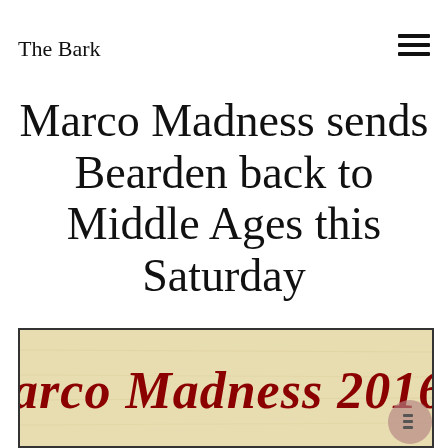The Bark
Marco Madness sends Bearden back to Middle Ages this Saturday
[Figure (illustration): Medieval parchment-style banner with decorative blackletter text reading 'Marco Madness 2016' in dark red on a tan/aged paper background, with a semi-transparent circle overlay in the bottom right corner.]